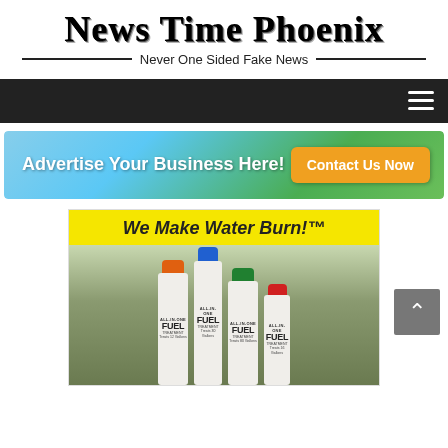[Figure (logo): News Time Phoenix logo with distressed font and tagline 'Never One Sided Fake News']
[Figure (screenshot): Dark navigation bar with hamburger menu icon on the right]
[Figure (infographic): Advertisement banner with blue/green gradient background, text 'Advertise Your Business Here!' and orange 'Contact Us Now' button]
[Figure (photo): Product advertisement showing four fuel treatment bottles with colored caps (orange, blue, green, red) against an outdoor background, with yellow header reading 'We Make Water Burn!']